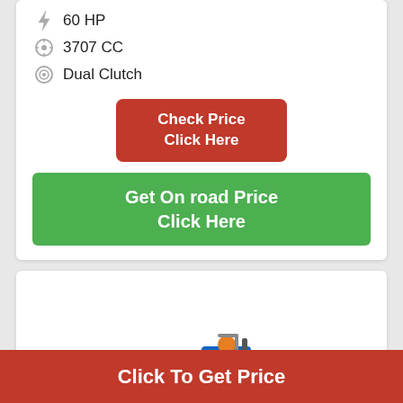60 HP
3707 CC
Dual Clutch
Check Price
Click Here
Get On road Price
Click Here
[Figure (photo): Sonalika DI 60 DLX blue tractor with operator seated, shown in side view]
Sonalika DI 60 DLX
Click To Get Price